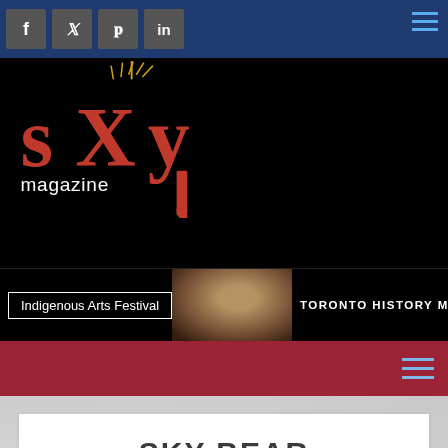SKY magazine - social share bar and navigation
[Figure (logo): SKY magazine logo in red serif font on black background with decorative spikes above the X]
[Figure (screenshot): Advertisement banner: Indigenous Arts Festival - Toronto History Museums]
SKY BEAR
Feb 20, 2017 | Profile